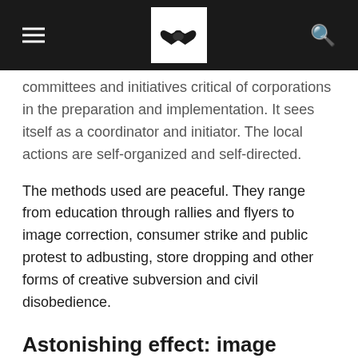[Navigation header with hamburger menu, handshake logo, and search icon]
committees and initiatives critical of corporations in the preparation and implementation. It sees itself as a coordinator and initiator. The local actions are self-organized and self-directed.
The methods used are peaceful. They range from education through rallies and flyers to image correction, consumer strike and public protest to adbusting, store dropping and other forms of creative subversion and civil disobedience.
Astonishing effect: image damage, business closures & share price collapses
The aktion ./. arbeitsunrecht was able to initiate regular actions in 20-30 German cities on #FREITAG13, in some cases exerting considerable pressure on companies, brands